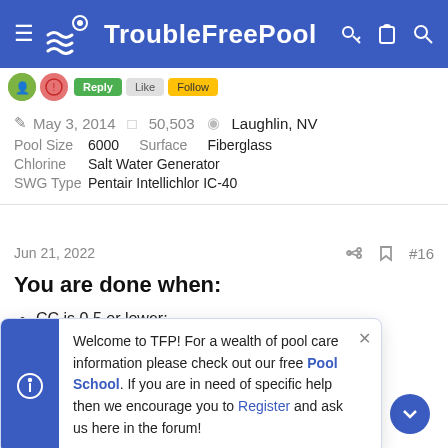TroubleFreePool
May 3, 2014  50,503  Laughlin, NV
Pool Size 6000  Surface Fiberglass
Chlorine Salt Water Generator
SWG Type Pentair Intellichlor IC-40
Jun 21, 2022  #16
You are done when:
CC is 0.5 or lower;
test shows a
Welcome to TFP! For a wealth of pool care information please check out our free Pool School. If you are in need of specific help then we encourage you to Register and ask us here in the forum!
g and can allow
th